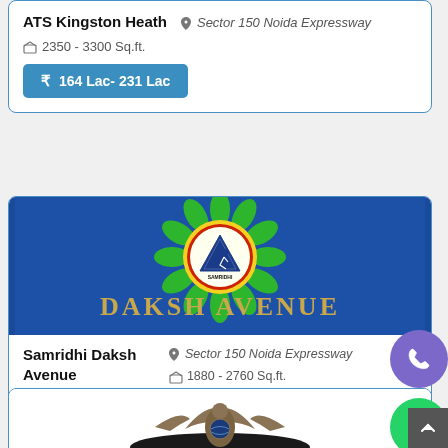ATS Kingston Heath
Sector 150 Noida Expressway
2350 - 3300 Sq.ft.
164 Lac- 231 Lac
[Figure (logo): Samridhi Daksh Avenue logo on blue background with green floral design and triangle symbol, text DAKSH AVENUE in gold]
Samridhi Daksh Avenue
Sector 150 Noida Expressway
1880 - 2760 Sq.ft.
0 Lac- 0 Lac
[Figure (logo): Partial logo at bottom of page - dark bird/eagle silhouette on dark background]